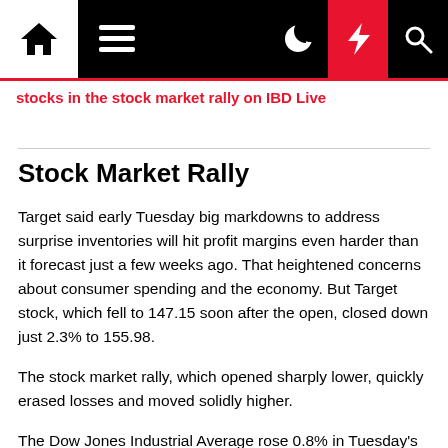stocks in the stock market rally on IBD Live
Stock Market Rally
Target said early Tuesday big markdowns to address surprise inventories will hit profit margins even harder than it forecast just a few weeks ago. That heightened concerns about consumer spending and the economy. But Target stock, which fell to 147.15 soon after the open, closed down just 2.3% to 155.98.
The stock market rally, which opened sharply lower, quickly erased losses and moved solidly higher.
The Dow Jones Industrial Average rose 0.8% in Tuesday's stock market trading. The S&P 500 index